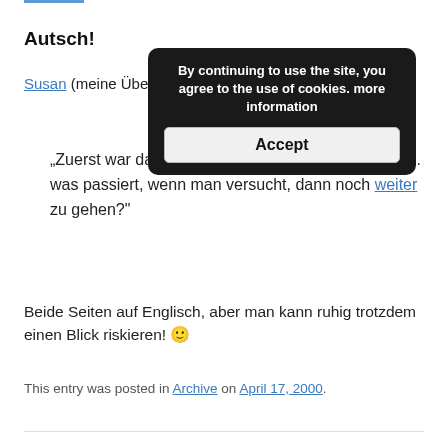Autsch!
Susan (meine Übersetzung)
[Figure (screenshot): Cookie consent popup overlay with text: 'By continuing to use the site, you agree to the use of cookies. more information' and an 'Accept' button.]
„Zuerst war da das Ende des Internets. Aber.. aber... was passiert, wenn man versucht, dann noch weiter zu gehen?“
Beide Seiten auf Englisch, aber man kann ruhig trotzdem einen Blick riskieren! 🙂
This entry was posted in Archive on April 17, 2000.